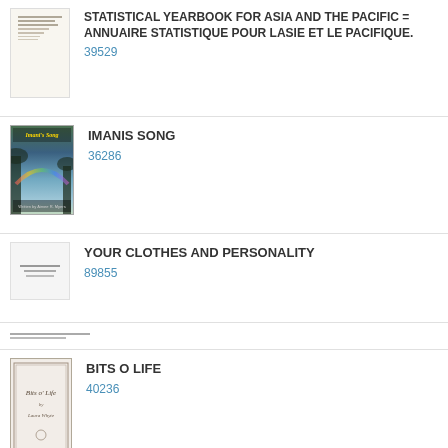[Figure (photo): Thumbnail of Statistical Yearbook for Asia and the Pacific book cover]
STATISTICAL YEARBOOK FOR ASIA AND THE PACIFIC = ANNUAIRE STATISTIQUE POUR LASIE ET LE PACIFIQUE.
39529
[Figure (photo): Thumbnail of Imanis Song book cover with tropical/rainbow imagery]
IMANIS SONG
36286
[Figure (photo): Thumbnail of Your Clothes and Personality book cover]
YOUR CLOTHES AND PERSONALITY
89855
[Figure (photo): Small thumbnail image placeholder]
[Figure (photo): Thumbnail of Bits O Life book cover]
BITS O LIFE
40236